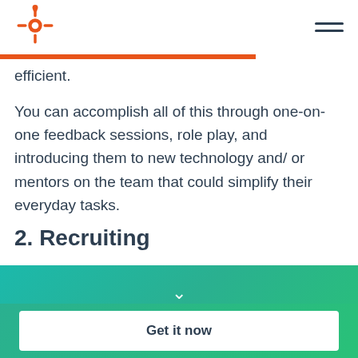HubSpot logo and navigation
efficient.
You can accomplish all of this through one-on-one feedback sessions, role play, and introducing them to new technology and/ or mentors on the team that could simplify their everyday tasks.
2. Recruiting
Download Now: Sales Training & Onboarding Template [Free Tool]
Get it now